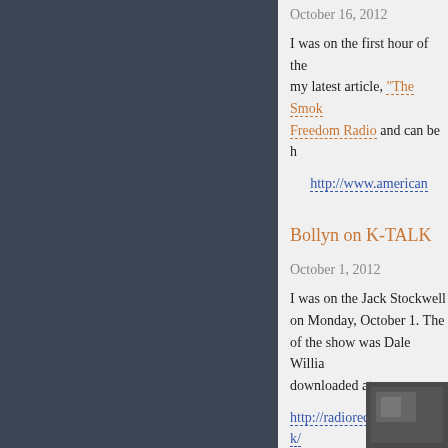October 16, 2012
I was on the first hour of the… my latest article, "The Smok… Freedom Radio and can be h…
http://www.american…
Bollyn on K-TALK
October 1, 2012
I was on the Jack Stockwell… on Monday, October 1. The… of the show was Dale Willia… downloaded at:
http://radiorecast.com/ktalk/…
We discussed 9-11 and the p… a war with Iran.
[Figure (photo): A dark/grayscale photo in the bottom right corner]